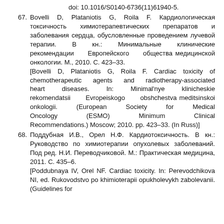doi: 10.1016/S0140-6736(11)61940-5.
67. Bovelli D, Plataniotis G, Roila F. Кардиологическая токсичность химиотерапевтических препаратов и заболевания сердца, обусловленные проведением лучевой терапии. В кн.: Минимальные клинические рекомендации Европейского общества медицинской онкологии. М., 2010. С. 423–33. [Bovelli D, Plataniotis G, Roila F. Cardiac toxicity of chemotherapeutic agents and radiotherapy-associated heart diseases. In: Minimal'nye klinicheskie rekomendatsii Evropeiskogo obshchestva meditsinskoi onkologii. (European Society for Medical Oncology (ESMO) Minimum Clinical Recommendations.) Moscow; 2010. pp. 423–33. (In Russ)]
68. Поддубная И.В., Орел Н.Ф. Кардиотоксичность. В кн.: Руководство по химиотерапии опухолевых заболеваний. Под ред. Н.И. Переводчиковой. М.: Практическая медицина, 2011. С. 435–6. [Poddubnaya IV, Orel NF. Cardiac toxicity. In: Perevodchikova NI, ed. Rukovodstvo po khimioterapii opukholevykh zabolevanii. (Guidelines for chemotherapy of tumor diseases.)